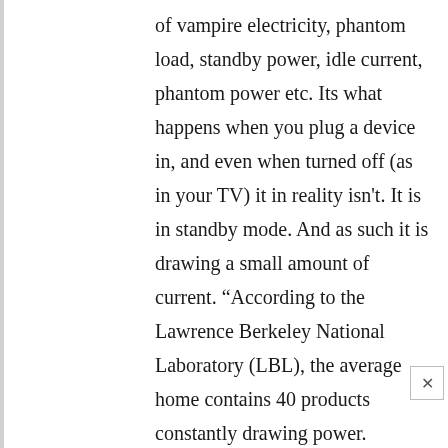of vampire electricity, phantom load, standby power, idle current, phantom power etc. Its what happens when you plug a device in, and even when turned off (as in your TV) it in reality isn't. It is in standby mode. And as such it is drawing a small amount of current. “According to the Lawrence Berkeley National Laboratory (LBL), the average home contains 40 products constantly drawing power. Individually, the electricity flowing to a TV that’s been turned off or a coffeemaker programmed to brew in the morning is extremely small, but together, these sleeping devices may account for as much as 10 percent